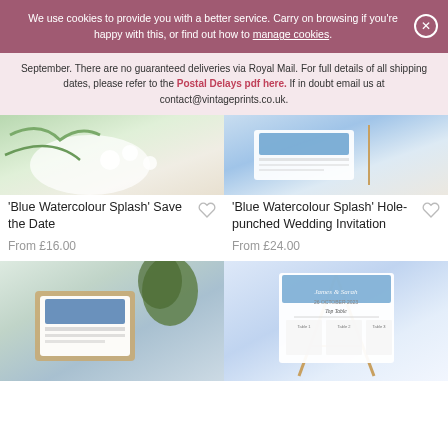We use cookies to provide you with a better service. Carry on browsing if you're happy with this, or find out how to manage cookies.
September. There are no guaranteed deliveries via Royal Mail. For full details of all shipping dates, please refer to the Postal Delays pdf here. If in doubt email us at contact@vintageprints.co.uk.
[Figure (photo): Blue Watercolour Splash Save the Date product image - white stationery with green leaves and white flowers]
'Blue Watercolour Splash' Save the Date
From £16.00
[Figure (photo): Blue Watercolour Splash Hole-punched Wedding Invitation product image - white card with blue watercolour design on wooden background]
'Blue Watercolour Splash' Hole-punched Wedding Invitation
From £24.00
[Figure (photo): Blue Watercolour Splash product in envelope with green leaves]
[Figure (photo): Blue Watercolour Splash wedding seating chart on easel]